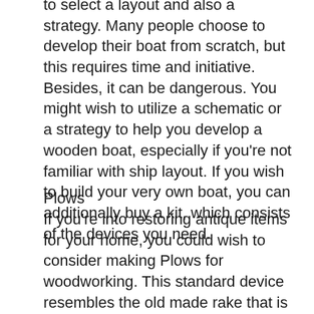to select a layout and also a strategy. Many people choose to develop their boat from scratch, but this requires time and initiative. Besides, it can be dangerous. You might wish to utilize a schematic or a strategy to help you develop a wooden boat, especially if you're not familiar with ship layout. If you wish to build your very own boat, you can additionally buy a kit, which consists of the devices you need.
Plows
If you're into restoring antique items for your home, you could wish to consider making Plows for woodworking. This standard device resembles the old made rake that is drawn by steeds. You can put it in a blossom bed or perhaps in your yard. You can acquire a full